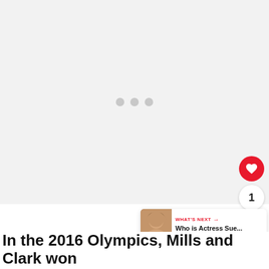[Figure (photo): Large image placeholder area with loading indicator (three gray dots centered), shown as a light gray rectangle. UI overlay elements include a red heart/like button, a share button, a count badge showing 1, and a 'What's Next' card in the bottom right corner showing a thumbnail of a woman and text 'WHAT'S NEXT → Who is Actress Sue...']
In the 2016 Olympics, Mills and Clark won